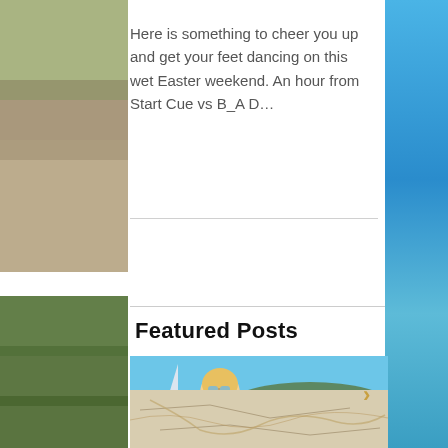Here is something to cheer you up and get your feet dancing on this wet Easter weekend. An hour from Start Cue vs B_A D…
Featured Posts
[Figure (photo): Young blonde woman wearing sunglasses and a green bracelet on a beach near a sailboat, looking up with hands raised, blue water and hillside in background. Below is a partial map texture image.]